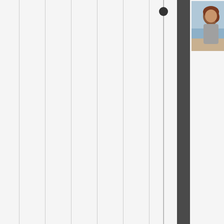[Figure (photo): Profile photo of a woman with reddish-brown hair standing near a beach, wearing a grey hoodie]
karenlee
June 28, 2016 at 9:54 am
When we were up on those ridges, witnessing all that beauty, I had the thought that this is one time I wish my blogger friends could be here right now to share it all with. On second thought, if you